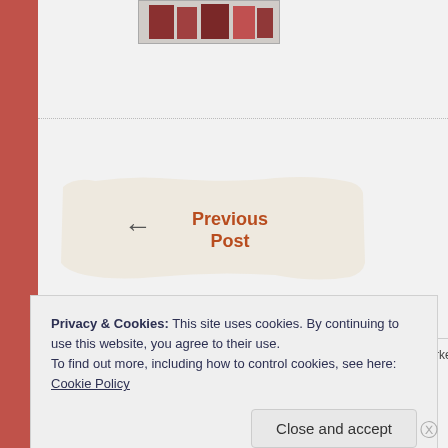[Figure (photo): Small book/image thumbnail at top]
[Figure (illustration): Previous Post navigation button with torn paper style background, left arrow, and text 'Previous Post']
Leave a Reply
Your email address will not be published. Required fields are marked *
Privacy & Cookies: This site uses cookies. By continuing to use this website, you agree to their use.
To find out more, including how to control cookies, see here: Cookie Policy
Close and accept